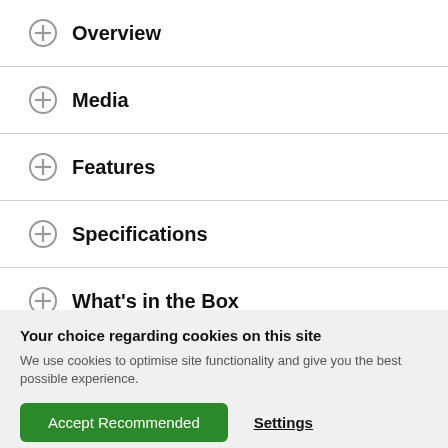Overview
Media
Features
Specifications
What's in the Box
Your choice regarding cookies on this site
We use cookies to optimise site functionality and give you the best possible experience.
Accept Recommended
Settings